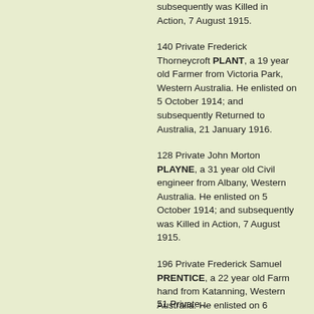subsequently was Killed in Action, 7 August 1915.
140 Private Frederick Thorneycroft PLANT, a 19 year old Farmer from Victoria Park, Western Australia. He enlisted on 5 October 1914; and subsequently Returned to Australia, 21 January 1916.
128 Private John Morton PLAYNE, a 31 year old Civil engineer from Albany, Western Australia. He enlisted on 5 October 1914; and subsequently was Killed in Action, 7 August 1915.
196 Private Frederick Samuel PRENTICE, a 22 year old Farm hand from Katanning, Western Australia. He enlisted on 6 October 1914; and subsequently Returned to Australia, 8 May 1916.
51 Private...